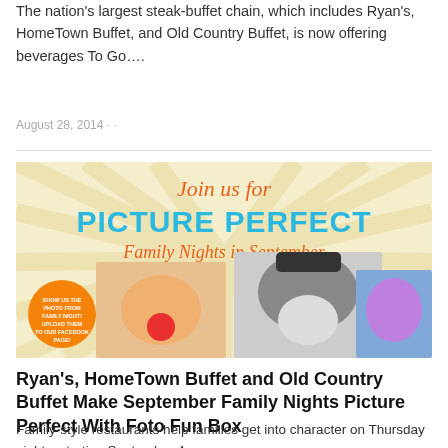The nation's largest steak-buffet chain, which includes Ryan's, HomeTown Buffet, and Old Country Buffet, is now offering beverages To Go….
August 28, 2014 · ·
[Figure (photo): Promotional image: 'Join us for PICTURE PERFECT Family Nights in September' with photos of children in costume — clown, hat with mustache prop, and colorful costume. Orange circle badge with call to action text.]
Ryan's, HomeTown Buffet and Old Country Buffet Make September Family Nights Picture Perfect With Foto Fun Box
Family-style restaurants help families get into character on Thursday nights, starting September 4